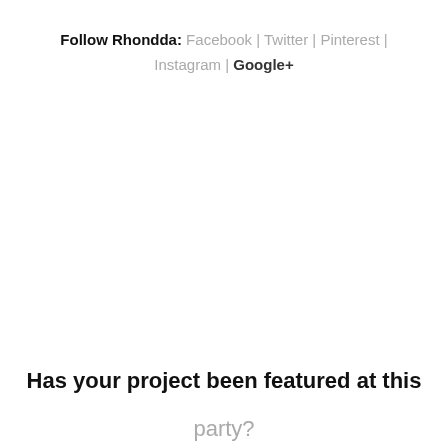Follow Rhondda: Facebook | Twitter | Pinterest | Instagram | Google+
Has your project been featured at this party?